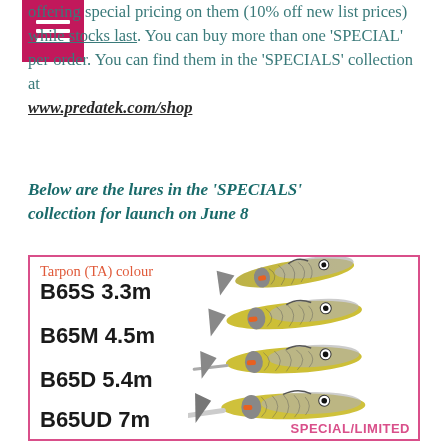offering special pricing on them (10% off new list prices) while stocks last. You can buy more than one 'SPECIAL' per order. You can find them in the 'SPECIALS' collection at www.predatek.com/shop
Below are the lures in the 'SPECIALS' collection for launch on June 8
[Figure (illustration): Product box with pink border showing four Barramundi 65 lures in Tarpon (TA) colour: B65S 3.3m, B65M 4.5m, B65D 5.4m, B65UD 7m. Each lure shown with yellow-green and grey scale pattern with orange accents. Labelled SPECIAL/LIMITED.]